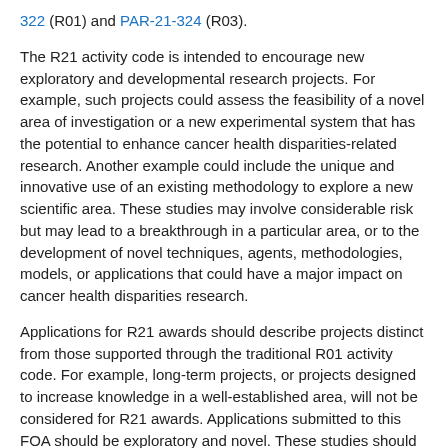322 (R01) and PAR-21-324 (R03).
The R21 activity code is intended to encourage new exploratory and developmental research projects. For example, such projects could assess the feasibility of a novel area of investigation or a new experimental system that has the potential to enhance cancer health disparities-related research. Another example could include the unique and innovative use of an existing methodology to explore a new scientific area. These studies may involve considerable risk but may lead to a breakthrough in a particular area, or to the development of novel techniques, agents, methodologies, models, or applications that could have a major impact on cancer health disparities research.
Applications for R21 awards should describe projects distinct from those supported through the traditional R01 activity code. For example, long-term projects, or projects designed to increase knowledge in a well-established area, will not be considered for R21 awards. Applications submitted to this FOA should be exploratory and novel. These studies should break new ground or extend previous discoveries toward new directions or applications. Projects of limited cost or scope that use widely accepted approaches and methods within well-established fields are not suited to the R21 activity code.